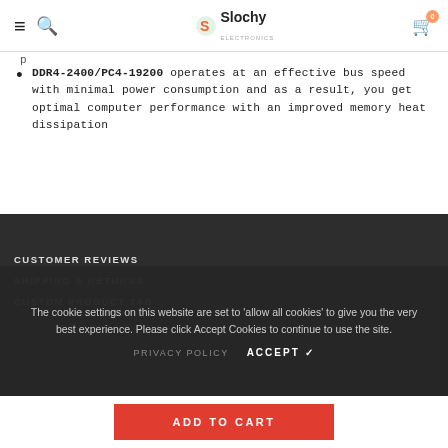Slochy Electronics — navigation bar with hamburger, search, logo, and cart (0 items)
DDR4-2400/PC4-19200 operates at an effective bus speed with minimal power consumption and as a result, you get optimal computer performance with an improved memory heat dissipation
Up to 2400 MHz speed with CL17 latency for playing the latest games and using heavy software
CUSTOMER REVIEWS
SHIPPING & RETURNS
CUSTOM PRODUCT TAB
The cookie settings on this website are set to 'allow all cookies' to give you the very best experience. Please click Accept Cookies to continue to use the site.
PRIVACY POLICY   ACCEPT ✔
ADD TO CART